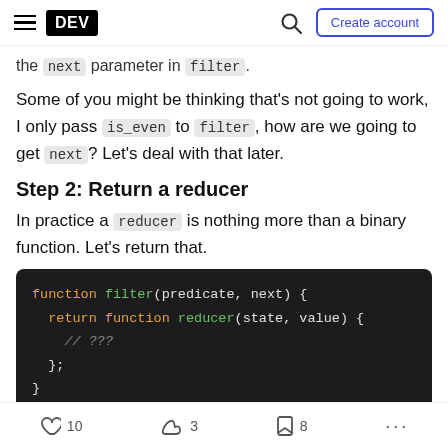DEV | Create account
the next parameter in filter.
Some of you might be thinking that's not going to work, I only pass is_even to filter, how are we going to get next? Let's deal with that later.
Step 2: Return a reducer
In practice a reducer is nothing more than a binary function. Let's return that.
[Figure (screenshot): Code block showing: function filter(predicate, next) { return function reducer(state, value) { // ??? }; }]
10  3  8  ...